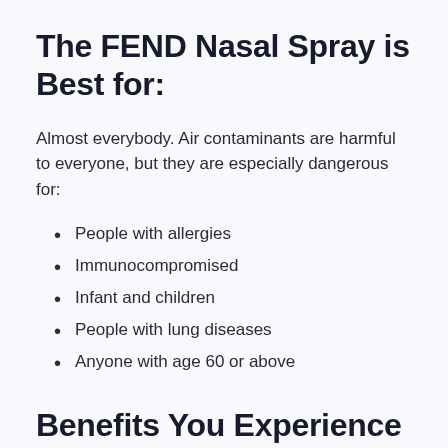The FEND Nasal Spray is Best for:
Almost everybody. Air contaminants are harmful to everyone, but they are especially dangerous for:
People with allergies
Immunocompromised
Infant and children
People with lung diseases
Anyone with age 60 or above
Benefits You Experience After Using FEND: